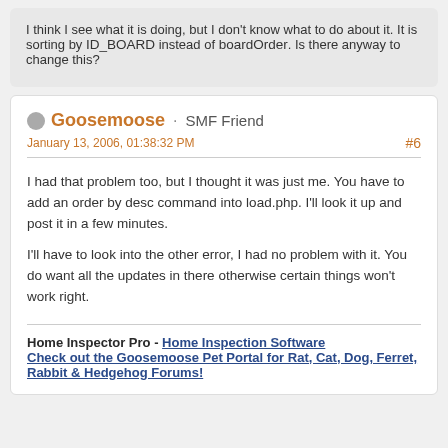I think I see what it is doing, but I don't know what to do about it. It is sorting by ID_BOARD instead of boardOrder. Is there anyway to change this?
Goosemoose · SMF Friend
January 13, 2006, 01:38:32 PM
#6
I had that problem too, but I thought it was just me. You have to add an order by desc command into load.php. I'll look it up and post it in a few minutes.
I'll have to look into the other error, I had no problem with it. You do want all the updates in there otherwise certain things won't work right.
Home Inspector Pro - Home Inspection Software
Check out the Goosemoose Pet Portal for Rat, Cat, Dog, Ferret, Rabbit & Hedgehog Forums!